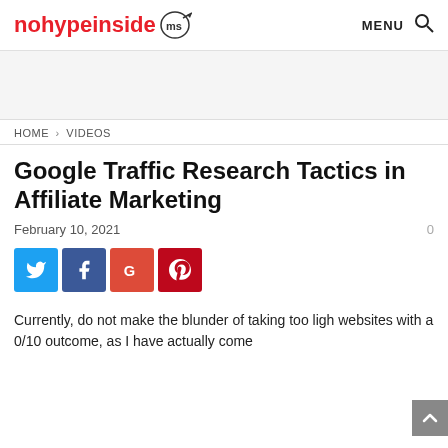nohypeinside [logo] MENU [search icon]
[Figure (other): Advertisement banner area, light gray background]
HOME › VIDEOS
Google Traffic Research Tactics in Affiliate Marketing
February 10, 2021
[Figure (infographic): Social share buttons: Twitter (blue), Facebook (dark blue), Google (orange-red), Pinterest (red)]
Currently, do not make the blunder of taking too ligh websites with a 0/10 outcome, as I have actually come